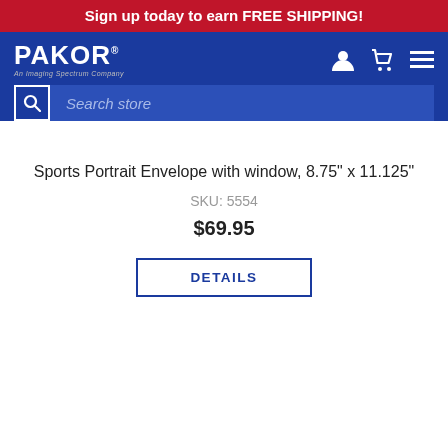Sign up today to earn FREE SHIPPING!
[Figure (logo): Pakor logo - An Imaging Spectrum Company, with user, cart, and menu icons on blue navigation bar with search bar]
Sports Portrait Envelope with window, 8.75" x 11.125"
SKU: 5554
$69.95
DETAILS